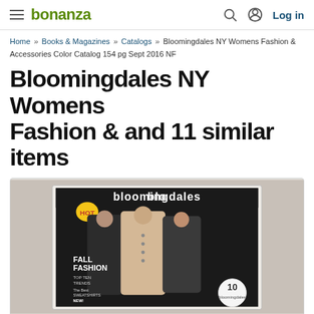bonanza | Log in
Home » Books & Magazines » Catalogs » Bloomingdales NY Womens Fashion & Accessories Color Catalog 154 pg Sept 2016 NF
Bloomingdales NY Womens Fashion & and 11 similar items
[Figure (photo): Photo of a Bloomingdales catalog showing Fall Fashion issue with three women models on the cover, text reading FALL FASHION, TOP TEN TRENDS, THE BEST SWEATSHIRTS, NEW! CHARLETTE TILBURE, FRUIT PRINT]